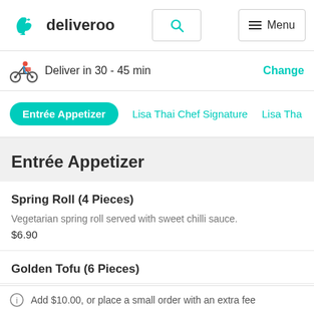deliveroo
Deliver in 30 - 45 min
Change
Entrée Appetizer
Lisa Thai Chef Signature
Lisa Tha
Entrée Appetizer
Spring Roll (4 Pieces)
Vegetarian spring roll served with sweet chilli sauce.
$6.90
Golden Tofu (6 Pieces)
Add $10.00, or place a small order with an extra fee